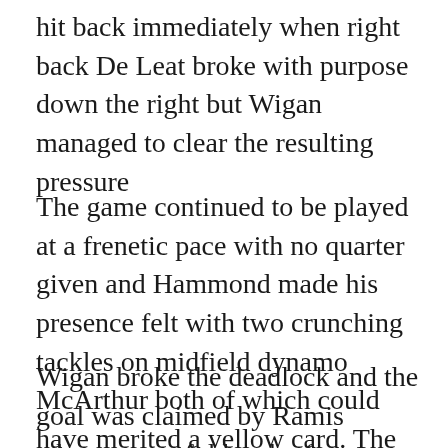hit back immediately when right back De Leat broke with purpose down the right but Wigan managed to clear the resulting pressure
The game continued to be played at a frenetic pace with no quarter given and Hammond made his presence felt with two crunching tackles on midfield dynamo McArthur both of which could have merited a yellow card. The Scot to his credit got up without complaint and ran the knocks off..
Wigan broke the deadlock and the goal was claimed by Ramis whose powerful header from a Gomez set piece after that man Hammond had ruthlessly scythed the